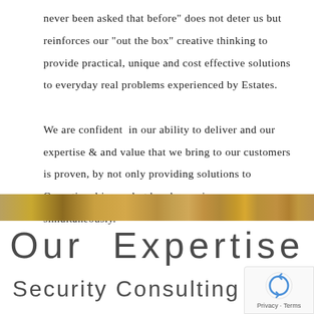never been asked that before" does not deter us but reinforces our "out the box" creative thinking to provide practical, unique and cost effective solutions to everyday real problems experienced by Estates.

We are confident in our ability to deliver and our expertise & and value that we bring to our customers is proven, by not only providing solutions to Operational issues but by also saving money simultaneously.
[Figure (photo): Horizontal decorative divider image with golden/bronze tones]
Our  Expertise
Security Consulting